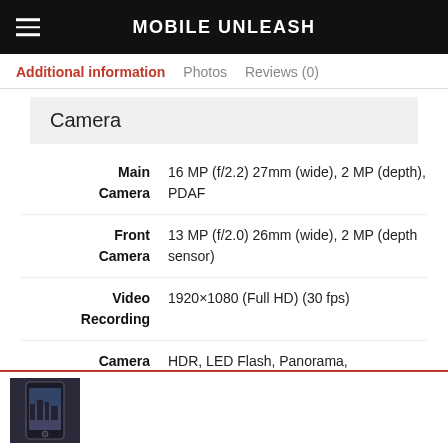MOBILE UNLEASH
Additional information   Photos   Reviews (0)
Camera
| Feature | Details |
| --- | --- |
| Main Camera | 16 MP (f/2.2) 27mm (wide), 2 MP (depth), PDAF |
| Front Camera | 13 MP (f/2.0) 26mm (wide), 2 MP (depth sensor) |
| Video Recording | 1920×1080 (Full HD) (30 fps) |
| Camera Features | HDR, LED Flash, Panorama, Video calling, Video sharing |
[Figure (photo): Small thumbnail photo of a dark smartphone]